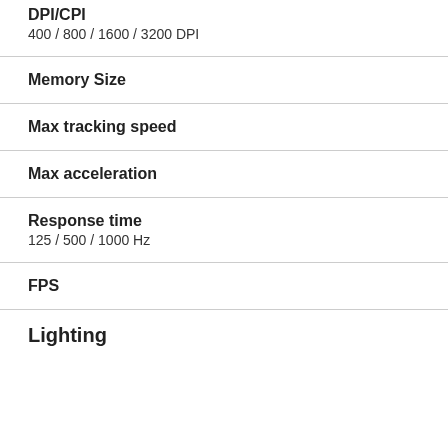DPI/CPI
400 / 800 / 1600 / 3200 DPI
Memory Size
Max tracking speed
Max acceleration
Response time
125 / 500 / 1000 Hz
FPS
Lighting